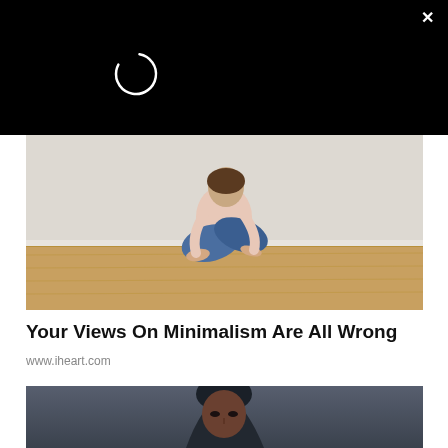[Figure (screenshot): Black overlay bar at top of screen with loading spinner circle and close X button in top right corner]
[Figure (photo): Person sitting cross-legged on a wooden floor against a white wall, wearing blue jeans and a light pink top, barefoot, head bent down]
Your Views On Minimalism Are All Wrong
www.iheart.com
[Figure (photo): Portrait of a man wearing a dark hoodie, looking slightly upward, against a dark grey background — partially visible, cropped at bottom of page]